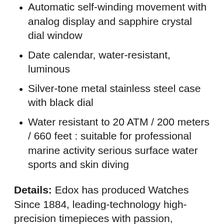Automatic self-winding movement with analog display and sapphire crystal dial window
Date calendar, water-resistant, luminous
Silver-tone metal stainless steel case with black dial
Water resistant to 20 ATM / 200 meters / 660 feet : suitable for professional marine activity serious surface water sports and skin diving
Details: Edox has produced Watches Since 1884, leading-technology high-precision timepieces with passion, ingenuity and a meticulous attention to details. In 1883, Christian Ruefli-Flury, an exceptionally gifted watchmaker, acquiring Em. Meri...